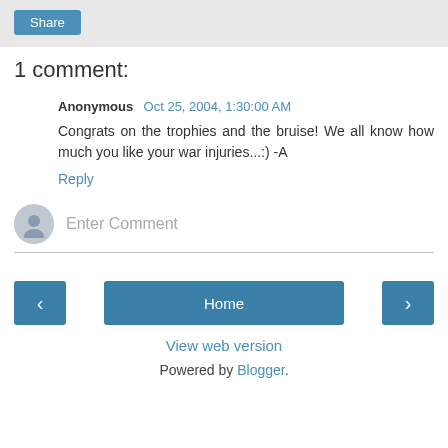[Figure (screenshot): Share button in a light gray header bar]
1 comment:
Anonymous  Oct 25, 2004, 1:30:00 AM
Congrats on the trophies and the bruise! We all know how much you like your war injuries...:) -A
Reply
[Figure (other): Enter Comment input field with user avatar icon]
[Figure (other): Navigation bar with left arrow, Home button, and right arrow buttons]
View web version
Powered by Blogger.